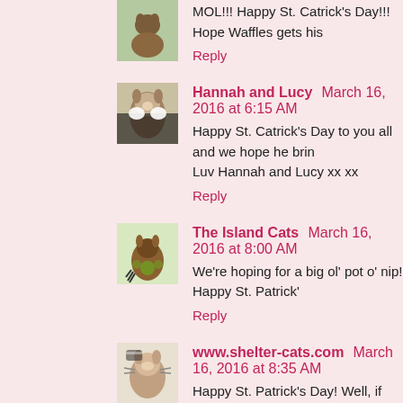MOL!!! Happy St. Catrick's Day!!! Hope Waffles gets his
Reply
Hannah and Lucy  March 16, 2016 at 6:15 AM
Happy St. Catrick's Day to you all and we hope he brin Luv Hannah and Lucy xx xx
Reply
The Island Cats  March 16, 2016 at 8:00 AM
We're hoping for a big ol' pot o' nip! Happy St. Patrick'
Reply
www.shelter-cats.com  March 16, 2016 at 8:35 AM
Happy St. Patrick's Day! Well, if the Great Leper Can d xxoo Maggie
Reply